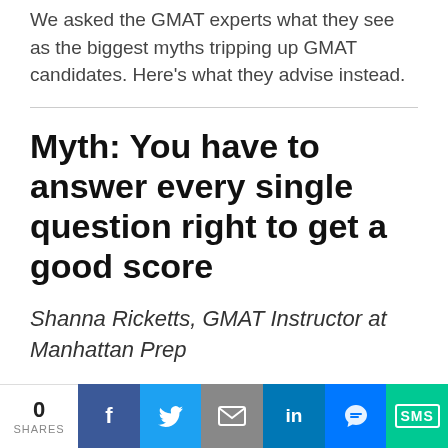We asked the GMAT experts what they see as the biggest myths tripping up GMAT candidates. Here's what they advise instead.
Myth: You have to answer every single question right to get a good score
Shanna Ricketts, GMAT Instructor at Manhattan Prep
The best GMAT scorers routinely skip problems. The key is to make good
0 SHARES | Facebook | Twitter | Email | LinkedIn | Messenger | SMS